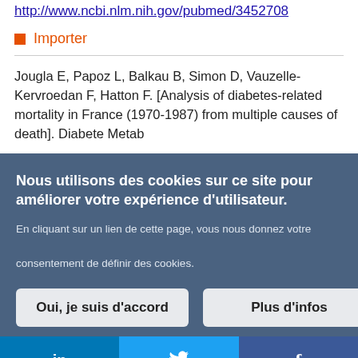http://www.ncbi.nlm.nih.gov/pubmed/3452708
Importer
Jougla E, Papoz L, Balkau B, Simon D, Vauzelle-Kervroedan F, Hatton F. [Analysis of diabetes-related mortality in France (1970-1987) from multiple causes of death]. Diabete Metab
Nous utilisons des cookies sur ce site pour améliorer votre expérience d'utilisateur.

En cliquant sur un lien de cette page, vous nous donnez votre consentement de définir des cookies.
Oui, je suis d'accord
Plus d'infos